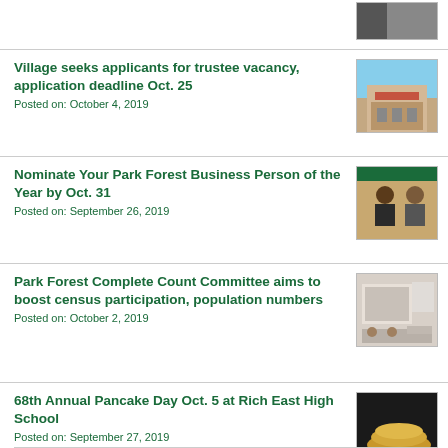[Figure (photo): Partial image at top of page, cropped]
Village seeks applicants for trustee vacancy, application deadline Oct. 25
Posted on: October 4, 2019
[Figure (photo): Photo of Park Forest Village Hall building exterior]
Nominate Your Park Forest Business Person of the Year by Oct. 31
Posted on: September 26, 2019
[Figure (photo): Photo of two people at business awards event with green banner]
Park Forest Complete Count Committee aims to boost census participation, population numbers
Posted on: October 2, 2019
[Figure (photo): Photo of committee meeting room with people seated]
68th Annual Pancake Day Oct. 5 at Rich East High School
Posted on: September 27, 2019
[Figure (photo): Photo of pancakes on a plate]